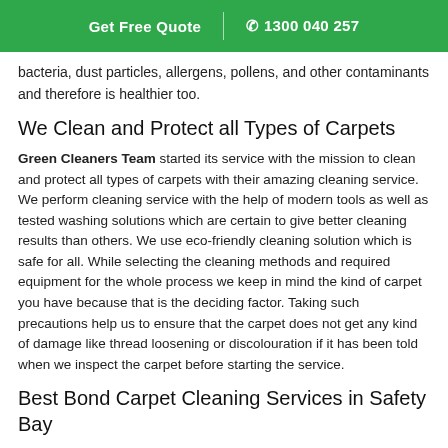Get Free Quote | 1300 040 257
bacteria, dust particles, allergens, pollens, and other contaminants and therefore is healthier too.
We Clean and Protect all Types of Carpets
Green Cleaners Team started its service with the mission to clean and protect all types of carpets with their amazing cleaning service. We perform cleaning service with the help of modern tools as well as tested washing solutions which are certain to give better cleaning results than others. We use eco-friendly cleaning solution which is safe for all. While selecting the cleaning methods and required equipment for the whole process we keep in mind the kind of carpet you have because that is the deciding factor. Taking such precautions help us to ensure that the carpet does not get any kind of damage like thread loosening or discolouration if it has been told when we inspect the carpet before starting the service.
Best Bond Carpet Cleaning Services in Safety Bay